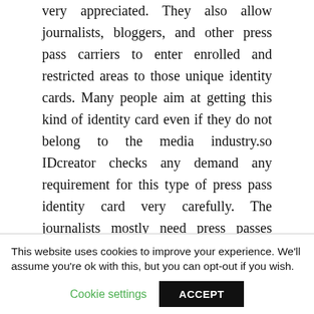very appreciated. They also allow journalists, bloggers, and other press pass carriers to enter enrolled and restricted areas to those unique identity cards. Many people aim at getting this kind of identity card even if they do not belong to the media industry.so IDcreator checks any demand any requirement for this type of press pass identity card very carefully. The journalists mostly need press passes when they have to go on the field for interviews, meetings, and reporting. Journalists have to get close to some people like politicians or celebrities to interview them. That is why press passes are paramount.
This website uses cookies to improve your experience. We'll assume you're ok with this, but you can opt-out if you wish.